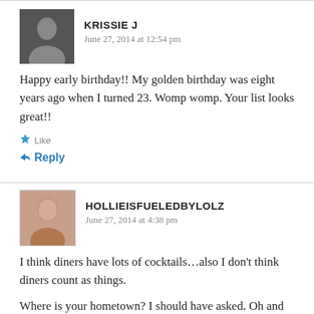KRISSIE J
June 27, 2014 at 12:54 pm
Happy early birthday!! My golden birthday was eight years ago when I turned 23. Womp womp. Your list looks great!!
Like
Reply
HOLLIEISFUELEDBYLOLZ
June 27, 2014 at 4:38 pm
I think diners have lots of cocktails…also I don't think diners count as things.
Where is your hometown? I should have asked. Oh and